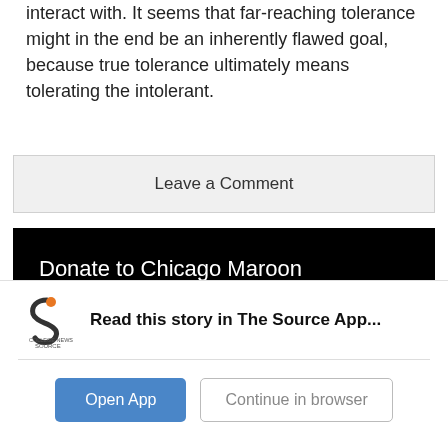interact with. It seems that far-reaching tolerance might in the end be an inherently flawed goal, because true tolerance ultimately means tolerating the intolerant.
Leave a Comment
Donate to Chicago Maroon
Read this story in The Source App...
Open App
Continue in browser